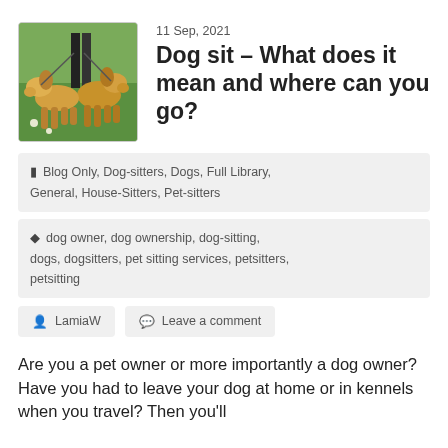[Figure (photo): Two golden retriever dogs on leashes walking on grass]
11 Sep, 2021
Dog sit – What does it mean and where can you go?
Blog Only, Dog-sitters, Dogs, Full Library, General, House-Sitters, Pet-sitters
dog owner, dog ownership, dog-sitting, dogs, dogsitters, pet sitting services, petsitters, petsitting
LamiaW
Leave a comment
Are you a pet owner or more importantly a dog owner? Have you had to leave your dog at home or in kennels when you travel? Then you'll